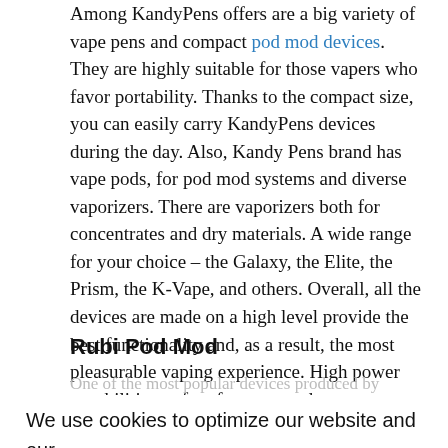Among KandyPens offers are a big variety of vape pens and compact pod mod devices. They are highly suitable for those vapers who favor portability. Thanks to the compact size, you can easily carry KandyPens devices during the day. Also, Kandy Pens brand has vape pods, for pod mod systems and diverse vaporizers. There are vaporizers both for concentrates and dry materials. A wide range for your choice – the Galaxy, the Elite, the Prism, the K-Vape, and others. Overall, all the devices are made on a high level provide the best functionality and, as a result, the most pleasurable vaping experience. High power capabilities, safety features, and great portability. As well, they boast attractive stylish design. Different colors are available.
Rubi Pod Mod
One of the most popular devices produced by Kandy Pens
We use cookies to optimize our website and our service.  Cookie Statement (US)  -  Privacy statement
works with Kandy Pens Rubi Pods that have a 1ml capacity and features ceramic coil with Japanese cotton.
Accept
All in all, if you are in a search for a portable vaporizer or a pod mod system that is both attractive in look and by its